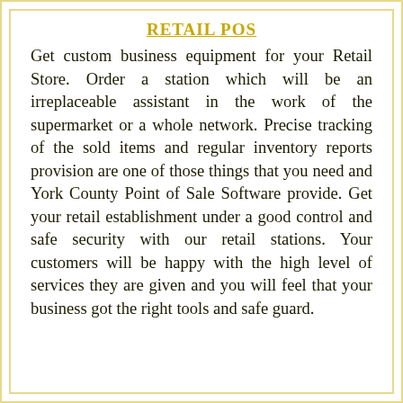RETAIL POS
Get custom business equipment for your Retail Store. Order a station which will be an irreplaceable assistant in the work of the supermarket or a whole network. Precise tracking of the sold items and regular inventory reports provision are one of those things that you need and York County Point of Sale Software provide. Get your retail establishment under a good control and safe security with our retail stations. Your customers will be happy with the high level of services they are given and you will feel that your business got the right tools and safe guard.